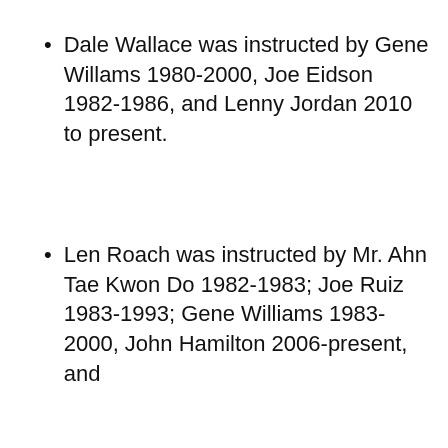Dale Wallace was instructed by Gene Willams 1980-2000, Joe Eidson 1982-1986, and Lenny Jordan 2010 to present.
Len Roach was instructed by Mr. Ahn Tae Kwon Do 1982-1983; Joe Ruiz 1983-1993; Gene Williams 1983-2000, John Hamilton 2006-present, and